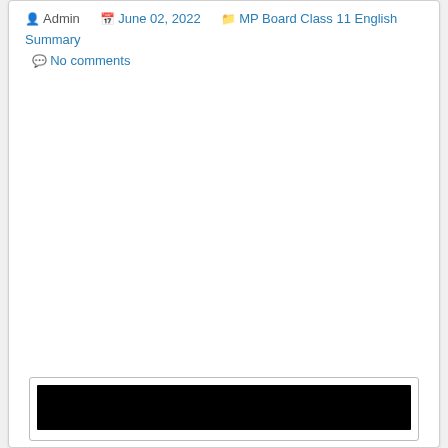Admin  June 02, 2022  MP Board Class 11 English Summary  No comments
[Figure (screenshot): Bottom box with a black image or video thumbnail bar inside a bordered container]